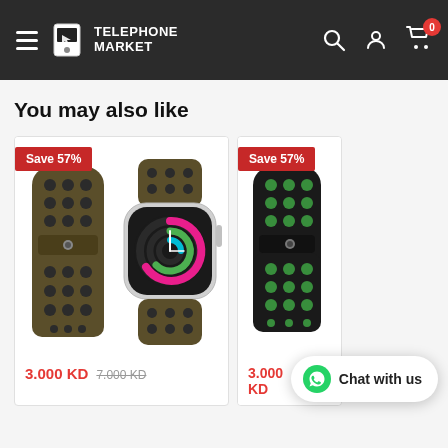[Figure (logo): Telephone Market logo with hamburger menu on dark header background]
You may also like
[Figure (photo): Apple Watch sport band in olive/black color with perforations, shown detached and attached to Apple Watch with colorful activity rings display. Save 57% badge. Price: 3.000 KD, original 7.000 KD]
[Figure (photo): Apple Watch sport band in black/green color with perforations, partially visible. Save 57% badge. Price: 3.000 KD, original 7.000 KD]